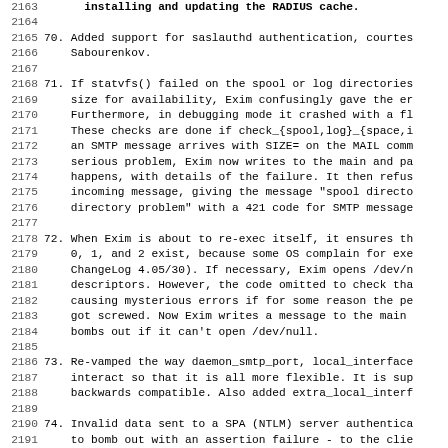70. Added support for saslauthd authentication, courtesy of Sabourenkov.
71. If statvfs() failed on the spool or log directories when checking the size for availability, Exim confusingly gave the error "unknown" Furthermore, in debugging mode it crashed with a floating point error. These checks are done if check_{spool,log}_{space,inodes} are set, or if an SMTP message arrives with SIZE= on the MAIL command. To signal the serious problem, Exim now writes to the main and panic logs when this happens, with details of the failure. It then refuses to accept an incoming message, giving the message "spool directory or log file directory problem" with a 421 code for SMTP messages.
72. When Exim is about to re-exec itself, it ensures that file descriptors 0, 1, and 2 exist, because some OS complain for exec'd processes (see ChangeLog 4.05/30). If necessary, Exim opens /dev/null to provide these descriptors. However, the code omitted to check that this worked, causing mysterious errors if for some reason the permissions had got screwed. Now Exim writes a message to the main log and bombs out if it can't open /dev/null.
73. Re-vamped the way daemon_smtp_port, local_interfaces, and local_ports interact so that it is all more flexible. It is supposed to be backwards compatible. Also added extra_local_interfaces.
74. Invalid data sent to a SPA (NTLM) server authenticator was able to bomb out with an assertion failure - to the client this looks like a connection drop. This problem occurs in the part of the code taken from the Samba project. Fortunately, the assertion is in a single function, so I have fixed this by reproducing the function in the one place where it is called, and arranging for auth_spa_server()